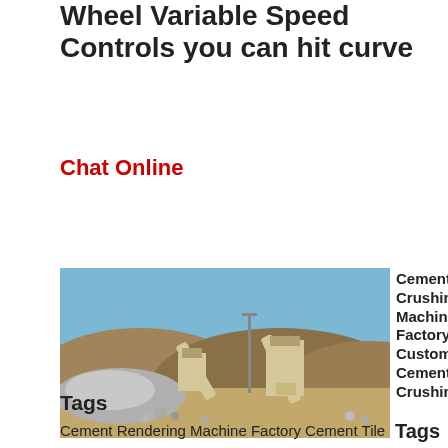Wheel Variable Speed Controls you can hit curve
Chat Online
[Figure (photo): Outdoor cement/stone crushing plant with conveyor belts, crushers, and rock piles against a hillside background under a blue sky.]
Cement Crushing Machine Factory Custom Cement Crushing
Tags
Cement Rendering Machine Factory Cement Tile Machine Factory Cement Making Machine Factory Energy Saving Stone Crushing Machine Rock